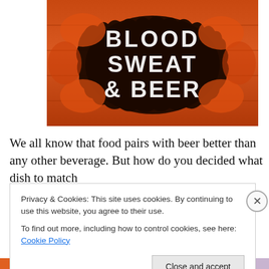[Figure (illustration): Book cover image with orange/brown wood plank background and dark torn hole effect. Large white distressed text reads 'BLOOD SWEAT & BEER'.]
We all know that food pairs with beer better than any other beverage. But how do you decided what dish to match
Privacy & Cookies: This site uses cookies. By continuing to use this website, you agree to their use.
To find out more, including how to control cookies, see here: Cookie Policy
Close and accept